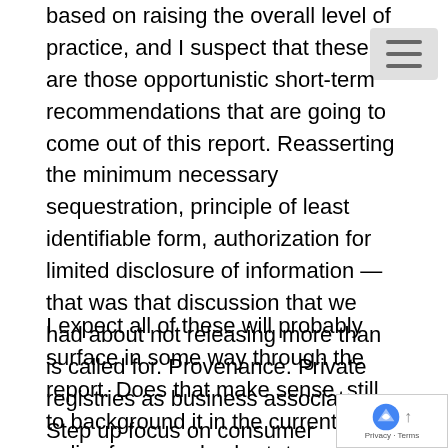based on raising the overall level of practice, and I suspect that these are those opportunistic short-term recommendations that are going to come out of this report. Reasserting the minimum necessary sequestration, principle of least identifiable form, authorization for limited disclosure of information — that was that discussion that we had about not releasing more than is called for. Provenance. Private registries as business associates. Step up focus on consumer education. These were the short list that we talked about yesterday.
I expect all of these will probably surface in some way through the report. Does that make sense, still, to background it in the current policy framework, short- term opportunities, to tighten and improve the, raising the level of practice when covered entities and business associates releasing information out of the HIPAA protections? T would be essentially the focus of what we'd address to the